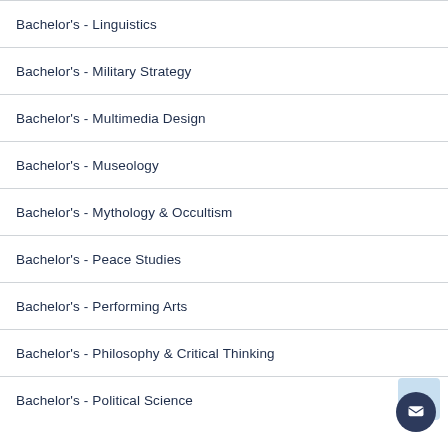Bachelor's - Linguistics
Bachelor's - Military Strategy
Bachelor's - Multimedia Design
Bachelor's - Museology
Bachelor's - Mythology & Occultism
Bachelor's - Peace Studies
Bachelor's - Performing Arts
Bachelor's - Philosophy & Critical Thinking
Bachelor's - Political Science